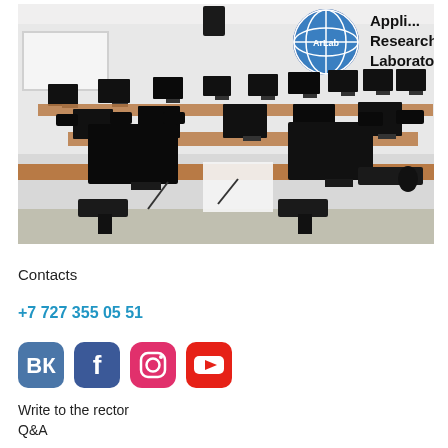[Figure (photo): Computer lab / Applied Research Laboratory with rows of monitors on wooden desks, black chairs, a whiteboard on the left wall, and 'Applied Research Laboratory' text with a globe logo on the back wall.]
Contacts
+7 727 355 05 51
[Figure (infographic): Social media icons: VK (blue), Facebook (blue), Instagram (red/pink), YouTube (red)]
Write to the rector
Q&A